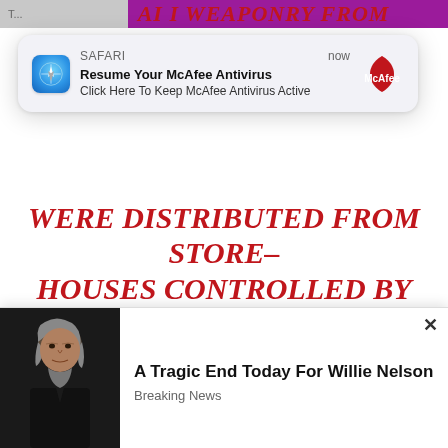[Figure (screenshot): Safari browser notification popup: 'Resume Your McAfee Antivirus / Click Here To Keep McAfee Antivirus Active' with McAfee logo, timestamped 'now']
WERE DISTRIBUTED FROM STORE-HOUSES CONTROLLED BY QATARI AND TURKISH INTELLIGENCE UNDER THE TIGHT SUPERVISION OF US INTELLIGENCE.
THESE WEAPONS WERE LOADED ON MORE THAN 20 TRAILER-TRUCKS W...RN
[Figure (screenshot): Ad popup with photo of elderly man (Willie Nelson) and text: 'A Tragic End Today For Willie Nelson / Breaking News']